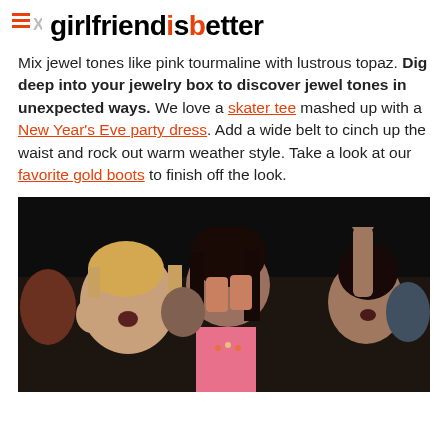MX girlfriendisbetter
Mix jewel tones like pink tourmaline with lustrous topaz. Dig deep into your jewelry box to discover jewel tones in unexpected ways. We love a skater tee mashed up with a New Year’s Eve party dress. Add a wide belt to cinch up the waist and rock out warm weather style. Take a look at our favorite gold boots to finish off the look.
[Figure (photo): Photo of young women at a concert or party, some with hands on faces, dark background, one wearing pink top]